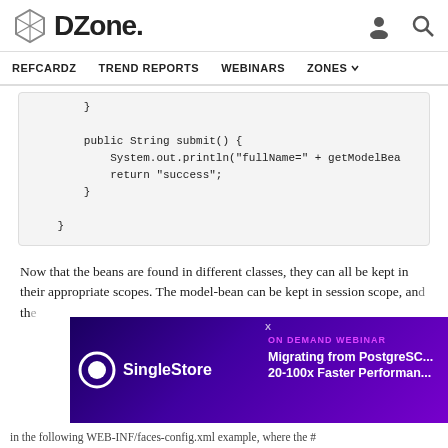DZone. REFCARDZ TREND REPORTS WEBINARS ZONES
}

    public String submit() {
        System.out.println("fullName=" + getModelBea
        return "success";
    }

}
Now that the beans are found in different classes, they can all be kept in their appropriate scopes. The model-bean can be kept in session scope, an... th...
[Figure (screenshot): SingleStore ad banner: ON DEMAND WEBINAR - Migrating from PostgreS... 20-100x Faster Performan...]
in the following WEB-INF/faces-config.xml example, where the #